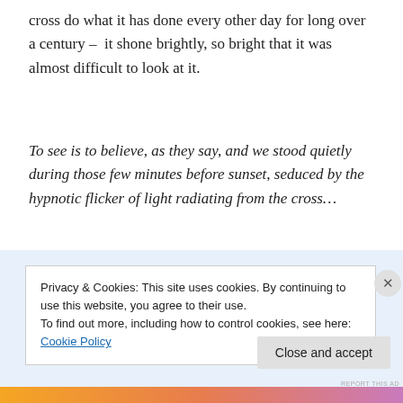cross do what it has done every other day for long over a century –  it shone brightly, so bright that it was almost difficult to look at it.
To see is to believe, as they say, and we stood quietly during those few minutes before sunset, seduced by the hypnotic flicker of light radiating from the cross…
[Figure (other): Advertisement banner: P2 logo with tagline 'Getting your team on the same page is easy. And free.']
Privacy & Cookies: This site uses cookies. By continuing to use this website, you agree to their use. To find out more, including how to control cookies, see here: Cookie Policy
Close and accept